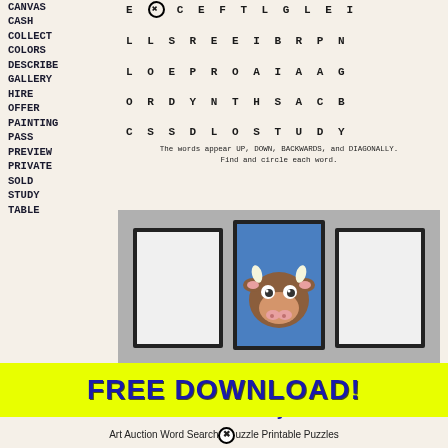CANVAS
CASH
COLLECT
COLORS
DESCRIBE
GALLERY
HIRE
OFFER
PAINTING
PASS
PREVIEW
PRIVATE
SOLD
STUDY
TABLE
[Figure (other): Word search puzzle grid with letters arranged in rows and columns. Contains circled X in top row. Letters: E X C E F T L G L E I / L L S R E E I B R P N / L O E P R O A I A A G / O R D Y N T H S A C B / C S S D L O S T U D Y]
The words appear UP, DOWN, BACKWARDS, and DIAGONALLY. Find and circle each word.
[Figure (photo): Art gallery wall showing three framed paintings hung on a grey wall. The center painting features a cartoon cow on a blue background. The floor is wooden parquet.]
FREE DOWNLOAD!
www.PuzzlestoPlay.com
Art Auction Word Search Puzzle Printable Puzzles